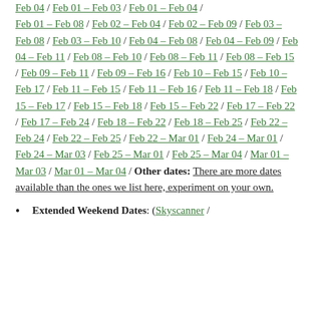Feb 04 / Feb 01 – Feb 03 / Feb 01 – Feb 04 / Feb 01 – Feb 08 / Feb 02 – Feb 04 / Feb 02 – Feb 09 / Feb 03 – Feb 08 / Feb 03 – Feb 10 / Feb 04 – Feb 08 / Feb 04 – Feb 09 / Feb 04 – Feb 11 / Feb 08 – Feb 10 / Feb 08 – Feb 11 / Feb 08 – Feb 15 / Feb 09 – Feb 11 / Feb 09 – Feb 16 / Feb 10 – Feb 15 / Feb 10 – Feb 17 / Feb 11 – Feb 15 / Feb 11 – Feb 16 / Feb 11 – Feb 18 / Feb 15 – Feb 17 / Feb 15 – Feb 18 / Feb 15 – Feb 22 / Feb 17 – Feb 22 / Feb 17 – Feb 24 / Feb 18 – Feb 22 / Feb 18 – Feb 25 / Feb 22 – Feb 24 / Feb 22 – Feb 25 / Feb 22 – Mar 01 / Feb 24 – Mar 01 / Feb 24 – Mar 03 / Feb 25 – Mar 01 / Feb 25 – Mar 04 / Mar 01 – Mar 03 / Mar 01 – Mar 04 / Other dates: There are more dates available than the ones we list here, experiment on your own.
Extended Weekend Dates: (Skyscanner /